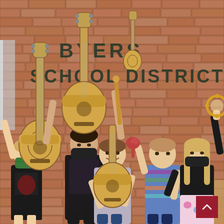[Figure (photo): Five children wearing face masks standing in front of a brick wall with 'BYERS SCHOOL DISTRICT' lettering, holding up acoustic guitars, a drumstick, maracas, and a tambourine. Cardboard boxes are visible in the background. A red scroll-to-top button with an upward arrow is in the bottom-right corner.]